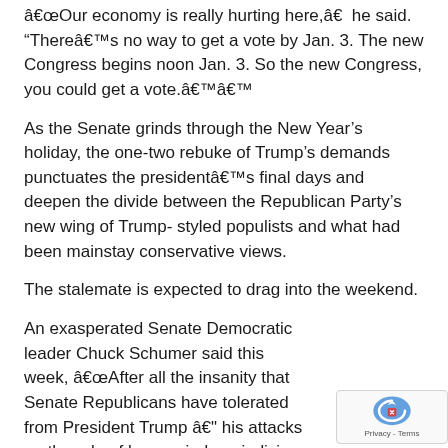â€œOur economy is really hurting here,â€ he said. “Thereâ€™s no way to get a vote by Jan. 3. The new Congress begins noon Jan. 3. So the new Congress, you could get a vote.â€™â€™
As the Senate grinds through the New Year’s holiday, the one-two rebuke of Trump’s demands punctuates the presidentâ€™s final days and deepen the divide between the Republican Party’s new wing of Trump-styled populists and what had been mainstay conservative views.
The stalemate is expected to drag into the weekend.
An exasperated Senate Democratic leader Chuck Schumer said this week, â€œAfter all the insanity that Senate Republicans have tolerated from President Trump â€" his attacks on the rule of law, an indep… judiciary, the conduct that led to his impeachment… this where Senate Republicans are going to draw th…